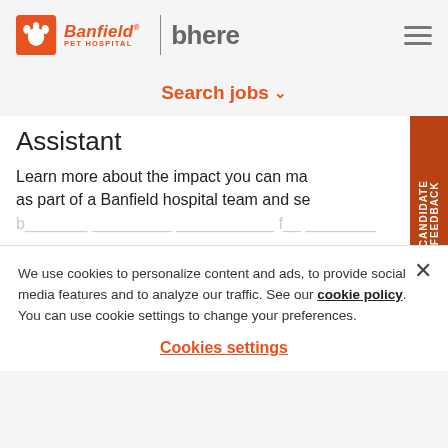[Figure (logo): Banfield Pet Hospital logo with orange paw icon and 'bhere' text]
Search jobs ▾
Assistant
Learn more about the impact you can make as part of a Banfield hospital team and see…
We use cookies to personalize content and ads, to provide social media features and to analyze our traffic. See our cookie policy. You can use cookie settings to change your preferences.
Cookies settings